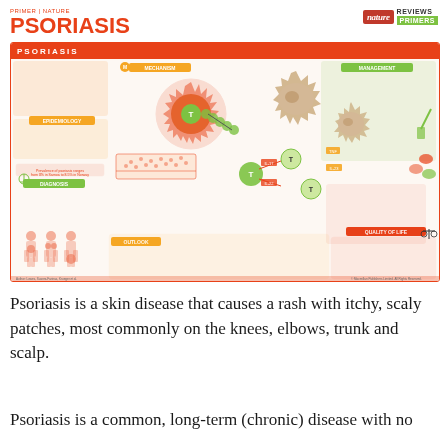PSORIASIS
[Figure (infographic): Nature Reviews Disease Primers infographic about Psoriasis covering Mechanism, Epidemiology, Diagnosis, Management, Outlook, and Quality of Life sections with immune cell diagrams, T-cell pathways, skin lesion illustrations, and body silhouettes showing affected areas.]
Psoriasis is a skin disease that causes a rash with itchy, scaly patches, most commonly on the knees, elbows, trunk and scalp.
Psoriasis is a common, long-term (chronic) disease with no